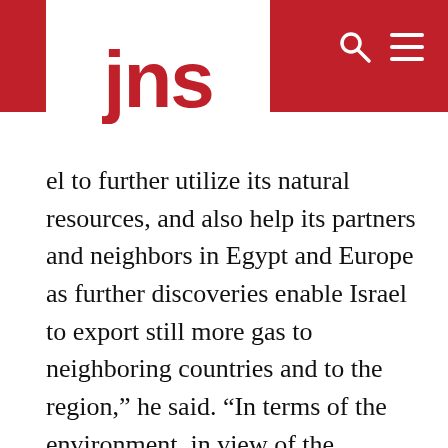jns
el to further utilize its natural resources, and also help its partners and neighbors in Egypt and Europe as further discoveries enable Israel to export still more gas to neighboring countries and to the region,” he said. “In terms of the environment, in view of the increase in coal production in Europe after the crisis with Ukraine, providing more gas to the market may help reduce coal usage. … So, it contributes to climate goals.”
Europe is so eager to limit Russian influence that it has indicated it would increase the use of